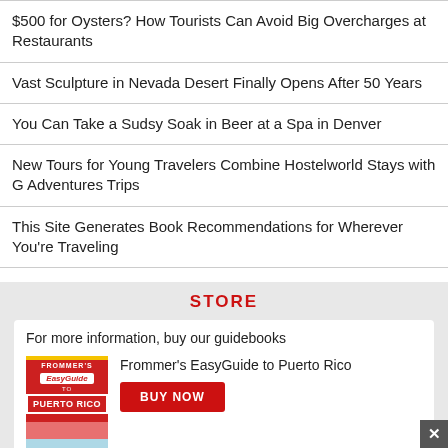$500 for Oysters? How Tourists Can Avoid Big Overcharges at Restaurants
Vast Sculpture in Nevada Desert Finally Opens After 50 Years
You Can Take a Sudsy Soak in Beer at a Spa in Denver
New Tours for Young Travelers Combine Hostelworld Stays with G Adventures Trips
This Site Generates Book Recommendations for Wherever You're Traveling
STORE
For more information, buy our guidebooks
Frommer's EasyGuide to Puerto Rico
[Figure (illustration): Cover of Frommer's EasyGuide to Puerto Rico book]
BUY NOW